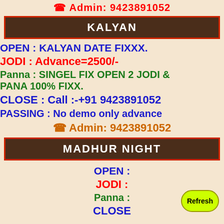☎ Admin: 9423891052
KALYAN
OPEN : KALYAN DATE FIXXX.
JODI : Advance=2500/-
Panna : SINGEL FIX OPEN 2 JODI & PANA 100% FIXX.
CLOSE : Call :-+91 9423891052
PASSING : No demo only advance
☎ Admin: 9423891052
MADHUR NIGHT
OPEN :
JODI :
Panna :
CLOSE